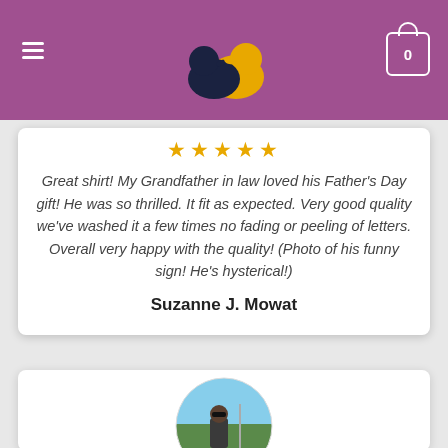[Figure (screenshot): E-commerce website header with purple/mauve background, two birds logo (dark navy and golden yellow), hamburger menu icon on left, shopping cart icon showing 0 on right]
[Figure (other): Five gold star rating icons]
Great shirt! My Grandfather in law loved his Father's Day gift! He was so thrilled. It fit as expected. Very good quality we've washed it a few times no fading or peeling of letters. Overall very happy with the quality! (Photo of his funny sign! He's hysterical!)
Suzanne J. Mowat
[Figure (photo): Circular cropped photo showing a person outdoors with trees in the background, partially cut off at bottom of page]